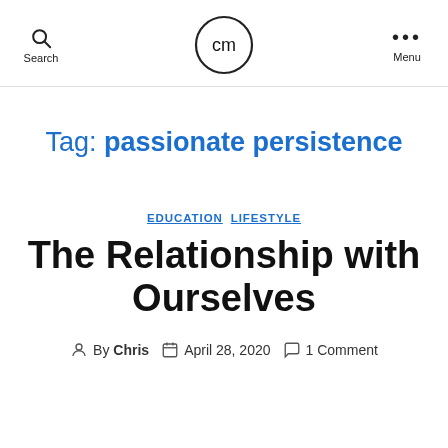Search | cm (logo) | Menu
Tag: passionate persistence
EDUCATION  LIFESTYLE
The Relationship with Ourselves
By Chris  April 28, 2020  1 Comment